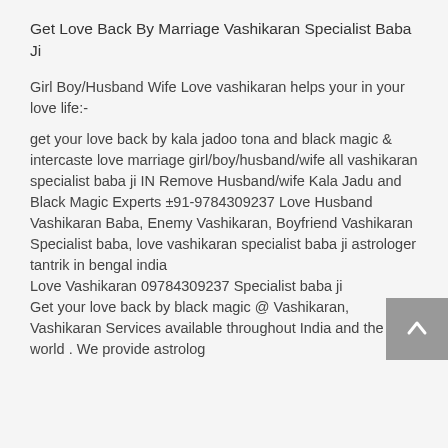Get Love Back By Marriage Vashikaran Specialist Baba Ji
Girl Boy/Husband Wife Love vashikaran helps your in your love life:-
get your love back by kala jadoo tona and black magic & intercaste love marriage girl/boy/husband/wife all vashikaran specialist baba ji IN Remove Husband/wife Kala Jadu and Black Magic Experts ±91-9784309237 Love Husband Vashikaran Baba, Enemy Vashikaran, Boyfriend Vashikaran Specialist baba, love vashikaran specialist baba ji astrologer tantrik in bengal india
Love Vashikaran 09784309237 Specialist baba ji
Get your love back by black magic @ Vashikaran, Vashikaran Services available throughout India and the world . We provide astrolog... ...ated to